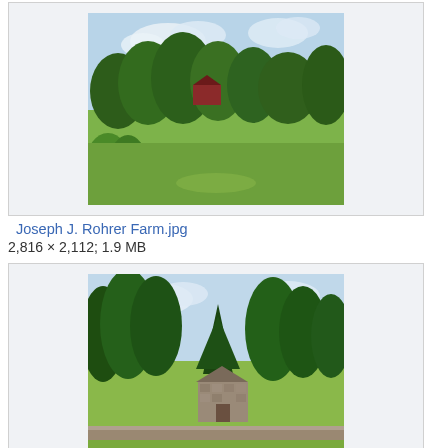[Figure (photo): Thumbnail of Joseph J. Rohrer Farm — open grassy field with large trees and a red farm building visible in the background under a partly cloudy sky.]
Joseph J. Rohrer Farm.jpg
2,816 × 2,112; 1.9 MB
[Figure (photo): Thumbnail of Joseph Mitchell House — a historic stone house partially obscured by dense trees with green grass in the foreground.]
Joseph Mitchell House.jpg
2,816 × 2,112; 3.37 MB